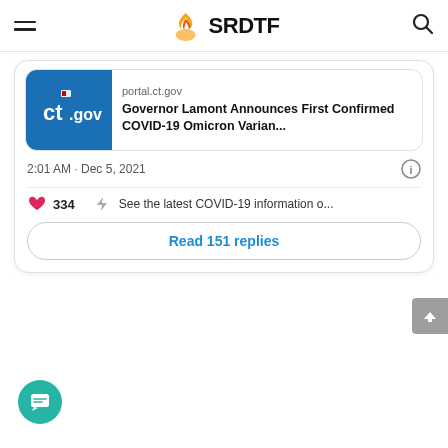SRDTF
[Figure (screenshot): Tweet card showing: portal.ct.gov link preview with ct.gov logo, headline 'Governor Lamont Announces First Confirmed COVID-19 Omicron Varian...', timestamp '2:01 AM · Dec 5, 2021', 334 likes, 'See the latest COVID-19 information o...' promo, and 'Read 151 replies' button]
portal.ct.gov
Governor Lamont Announces First Confirmed COVID-19 Omicron Varian...
2:01 AM · Dec 5, 2021
334
See the latest COVID-19 information o...
Read 151 replies